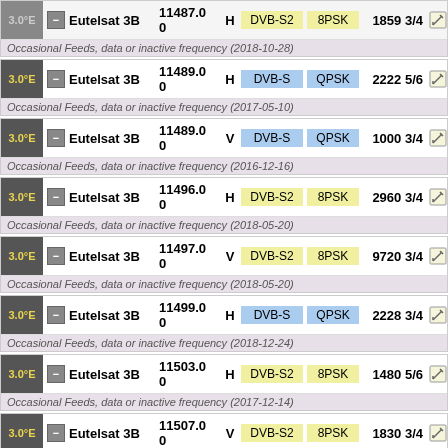| Pos |  | Satellite | Frequency | Pol | Standard | Modulation | SR FEC | Edit |
| --- | --- | --- | --- | --- | --- | --- | --- | --- |
| 3.0°E | - | Eutelsat 3B | 11487.0 0 | H | DVB-S2 | 8PSK | 1859 3/4 |  |
|  |  | Occasional Feeds, data or inactive frequency (2018-10-28) |  |  |  |  |  |  |
| 3.0°E | - | Eutelsat 3B | 11489.0 0 | H | DVB-S | QPSK | 2222 5/6 |  |
|  |  | Occasional Feeds, data or inactive frequency (2017-05-10) |  |  |  |  |  |  |
| 3.0°E | - | Eutelsat 3B | 11489.0 0 | V | DVB-S | QPSK | 1000 3/4 |  |
|  |  | Occasional Feeds, data or inactive frequency (2016-12-16) |  |  |  |  |  |  |
| 3.0°E | - | Eutelsat 3B | 11496.0 0 | H | DVB-S2 | 8PSK | 2960 3/4 |  |
|  |  | Occasional Feeds, data or inactive frequency (2018-05-20) |  |  |  |  |  |  |
| 3.0°E | - | Eutelsat 3B | 11497.0 0 | V | DVB-S2 | 8PSK | 9720 3/4 |  |
|  |  | Occasional Feeds, data or inactive frequency (2018-05-20) |  |  |  |  |  |  |
| 3.0°E | - | Eutelsat 3B | 11499.0 0 | H | DVB-S | QPSK | 2228 3/4 |  |
|  |  | Occasional Feeds, data or inactive frequency (2018-12-24) |  |  |  |  |  |  |
| 3.0°E | - | Eutelsat 3B | 11503.0 0 | H | DVB-S2 | 8PSK | 1480 5/6 |  |
|  |  | Occasional Feeds, data or inactive frequency (2017-12-14) |  |  |  |  |  |  |
| 3.0°E | - | Eutelsat 3B | 11507.0 0 | V | DVB-S2 | 8PSK | 1830 3/4 |  |
|  |  | Occasional Feeds, data or inactive frequency (2018-05-02) |  |  |  |  |  |  |